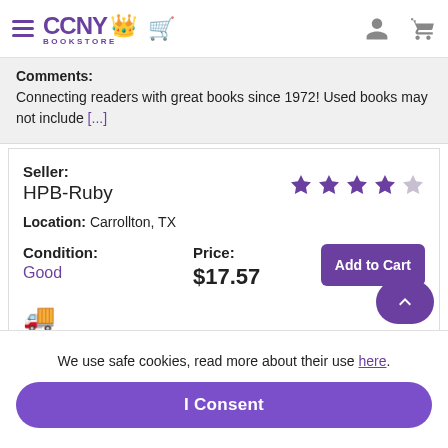CCNY BOOKSTORE
Comments: Connecting readers with great books since 1972! Used books may not include [...]
Seller: HPB-Ruby | Location: Carrollton, TX | Rating: 4/5 stars
Condition: Good | Price: $17.57 | Add to Cart
Comments: Connecting readers with great books since 1972! Used books may not include [...]
We use safe cookies, read more about their use here.
I Consent